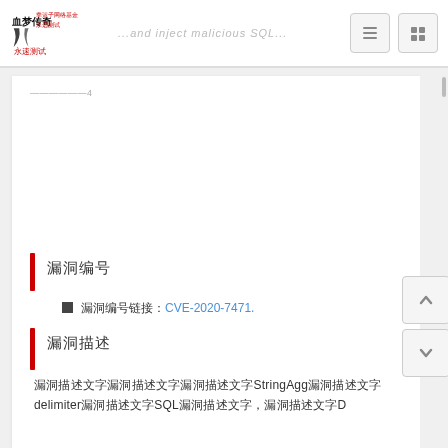血梦传奇 / ...and inject malicious SQL...
...文字内容... 4
漏洞编号
漏洞编号链接：CVE-2020-7471.
漏洞描述
漏洞描述内容涉及StringAgg函数的delimiter参数构造SQL语句, 造成D...